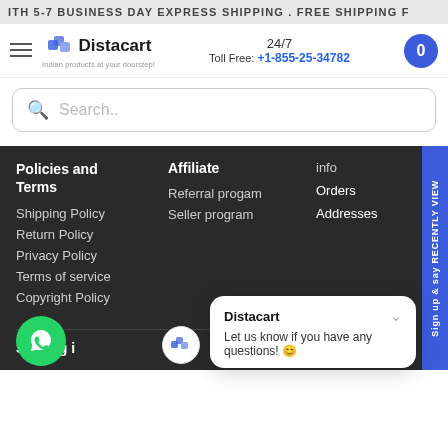ITH 5-7 BUSINESS DAY EXPRESS SHIPPING . FREE SHIPPING F
[Figure (logo): Distacart logo with hamburger menu, 24/7 Toll Free phone number, and cart button]
Search..
Policies and Terms
Shipping Policy
Return Policy
Privacy Policy
Terms of service
Copyright Policy
Affiliate
Referral progam
Seller program
info
Orders
Addresses
Serving i
Distacart
Let us know if you have any questions! 😊